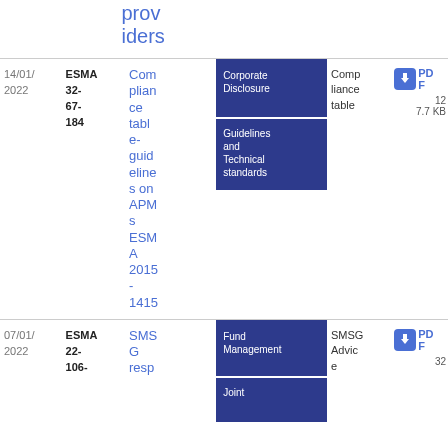| Date | Reference | Title | Tags | Type | Download |
| --- | --- | --- | --- | --- | --- |
| 14/01/2022 | ESMA 32-67-184 | Compliance table-guidelines on APMs ESMA 2015-1415 | Corporate Disclosure; Guidelines and Technical standards | Compliance table | PDF 127.7 KB |
| 07/01/2022 | ESMA 22-106- | SMSG resp | Fund Management; Joint | SMSG Advice | PDF 32 |